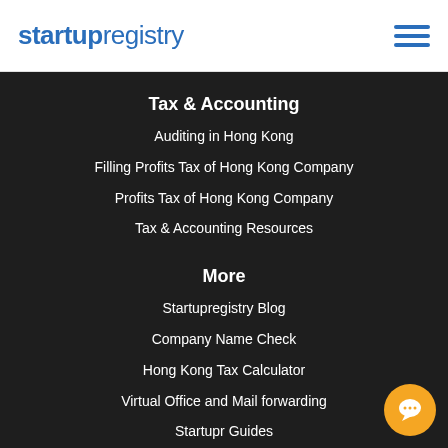startupregistry
Tax & Accounting
Auditing in Hong Kong
Filling Profits Tax of Hong Kong Company
Profits Tax of Hong Kong Company
Tax & Accounting Resources
More
Startupregistry Blog
Company Name Check
Hong Kong Tax Calculator
Virtual Office and Mail forwarding
Startupr Guides
Join Startupr team